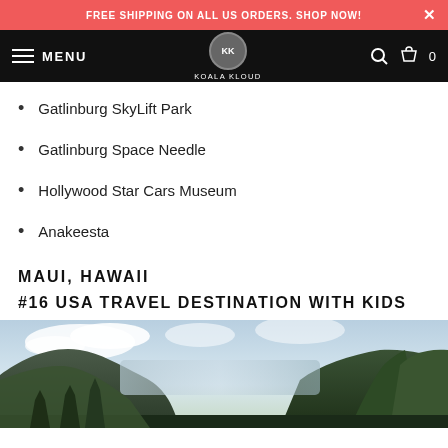FREE SHIPPING ON ALL US ORDERS. SHOP NOW!
MENU  KOALA KLOUD  0
Gatlinburg SkyLift Park
Gatlinburg Space Needle
Hollywood Star Cars Museum
Anakeesta
MAUI, HAWAII
#16 USA TRAVEL DESTINATION WITH KIDS
[Figure (photo): Aerial or scenic view of misty green mountains in Maui, Hawaii with cloudy sky]